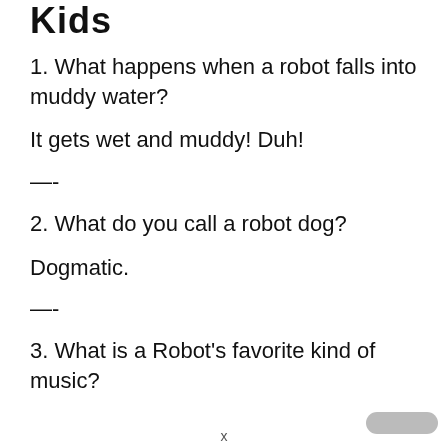Kids
1. What happens when a robot falls into muddy water?
It gets wet and muddy! Duh!
—-
2. What do you call a robot dog?
Dogmatic.
—-
3. What is a Robot's favorite kind of music?